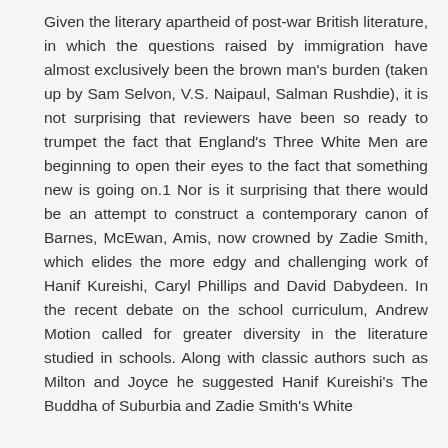Given the literary apartheid of post-war British literature, in which the questions raised by immigration have almost exclusively been the brown man's burden (taken up by Sam Selvon, V.S. Naipaul, Salman Rushdie), it is not surprising that reviewers have been so ready to trumpet the fact that England's Three White Men are beginning to open their eyes to the fact that something new is going on.1 Nor is it surprising that there would be an attempt to construct a contemporary canon of Barnes, McEwan, Amis, now crowned by Zadie Smith, which elides the more edgy and challenging work of Hanif Kureishi, Caryl Phillips and David Dabydeen. In the recent debate on the school curriculum, Andrew Motion called for greater diversity in the literature studied in schools. Along with classic authors such as Milton and Joyce he suggested Hanif Kureishi's The Buddha of Suburbia and Zadie Smith's White